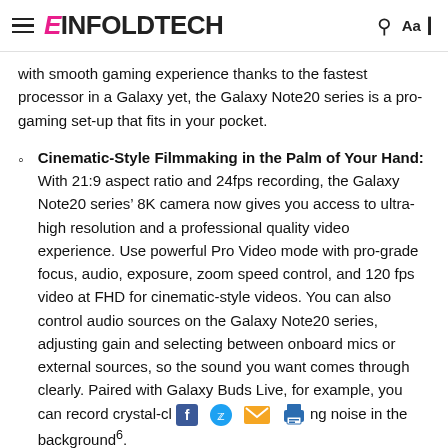EINFOLDTECH
with smooth gaming experience thanks to the fastest processor in a Galaxy yet, the Galaxy Note20 series is a pro-gaming set-up that fits in your pocket.
Cinematic-Style Filmmaking in the Palm of Your Hand: With 21:9 aspect ratio and 24fps recording, the Galaxy Note20 series’ 8K camera now gives you access to ultra-high resolution and a professional quality video experience. Use powerful Pro Video mode with pro-grade focus, audio, exposure, zoom speed control, and 120 fps video at FHD for cinematic-style videos. You can also control audio sources on the Galaxy Note20 series, adjusting gain and selecting between onboard mics or external sources, so the sound you want comes through clearly. Paired with Galaxy Buds Live, for example, you can record crystal-cl [social icons] ng noise in the background⁶.